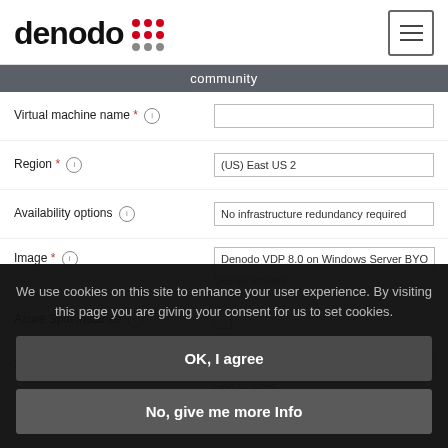[Figure (logo): Denodo logo with red dot-grid icon and black text 'denodo']
[Figure (other): Hamburger menu icon (three horizontal lines in a rounded rectangle border)]
community
Virtual machine name * (i)
Region * (i) — (US) East US 2
Availability options (i) — No infrastructure redundancy required
Image * (i) — Denodo VDP 8.0 on Windows Server BYO
See all images
Azure Spot instance (i)
Size * (i)
See all sizes
We use cookies on this site to enhance your user experience. By visiting this page you are giving your consent for us to set cookies.
OK, I agree
No, give me more Info